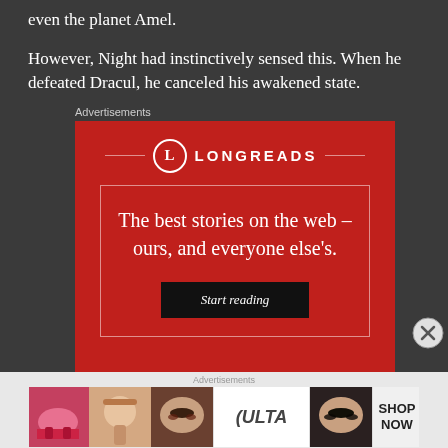even the planet Amel.
However, Night had instinctively sensed this. When he defeated Dracul, he canceled his awakened state.
[Figure (infographic): Longreads advertisement banner. Red background with Longreads logo (circle with 'L'), tagline 'The best stories on the web – ours, and everyone else's.' and a 'Start reading' button.]
[Figure (infographic): Ulta Beauty advertisement strip showing makeup/beauty images with ULTA logo and SHOP NOW text.]